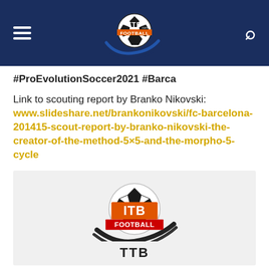TTB Football logo header with hamburger menu and search icon
#ProEvolutionSoccer2021 #Barca
Link to scouting report by Branko Nikovski: www.slideshare.net/brankonikovski/fc-barcelona-201415-scout-report-by-branko-nikovski-the-creator-of-the-method-5x5-and-the-morpho-5-cycle
[Figure (logo): TTB Football logo — soccer ball with 'TTB FOOTBALL' text, orange and black on grey background]